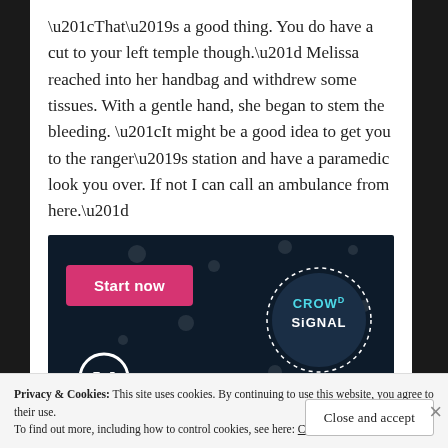“That’s a good thing. You do have a cut to your left temple though.” Melissa reached into her handbag and withdrew some tissues. With a gentle hand, she began to stem the bleeding. “It might be a good idea to get you to the ranger’s station and have a paramedic look you over. If not I can call an ambulance from here.”
[Figure (other): Advertisement banner with dark navy background showing a pink 'Start now' button, WordPress logo, and CrowdSignal circular logo with dotted border on a dark blue background with subtle dot pattern.]
Privacy & Cookies: This site uses cookies. By continuing to use this website, you agree to their use.
To find out more, including how to control cookies, see here: Cookie Policy